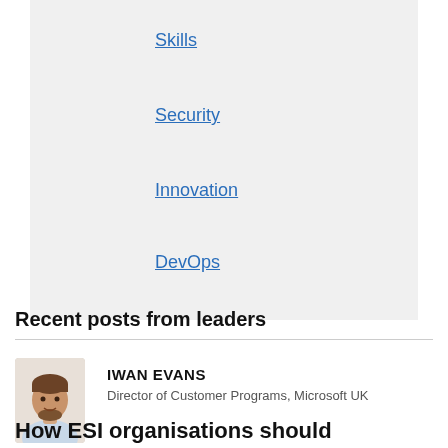Skills
Security
Innovation
DevOps
Recent posts from leaders
[Figure (photo): Headshot photo of Iwan Evans, a man with short brown hair and beard, wearing a light blue shirt]
IWAN EVANS
Director of Customer Programs, Microsoft UK
How ESI organisations should